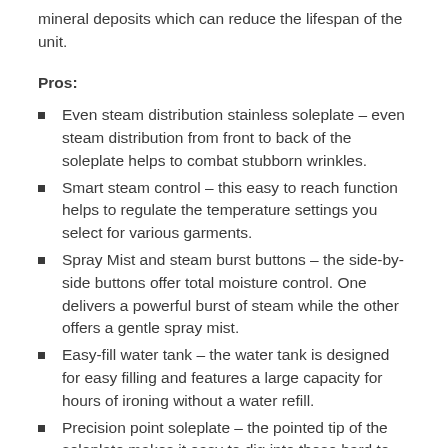mineral deposits which can reduce the lifespan of the unit.
Pros:
Even steam distribution stainless soleplate – even steam distribution from front to back of the soleplate helps to combat stubborn wrinkles.
Smart steam control – this easy to reach function helps to regulate the temperature settings you select for various garments.
Spray Mist and steam burst buttons – the side-by-side buttons offer total moisture control. One delivers a powerful burst of steam while the other offers a gentle spray mist.
Easy-fill water tank – the water tank is designed for easy filling and features a large capacity for hours of ironing without a water refill.
Precision point soleplate – the pointed tip of the soleplate makes it easy to dig into those hard to